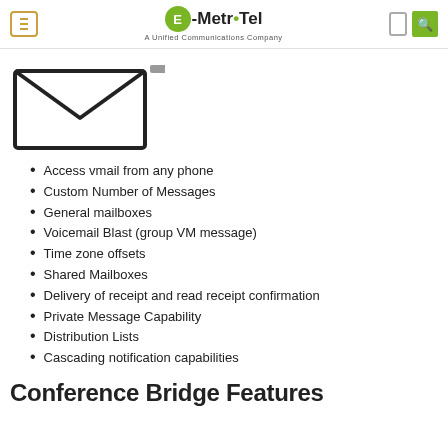E-MetroTel — A Unified Communications Company
[Figure (illustration): Partial envelope icon — a square outline with a downward chevron at the top representing an email/voicemail envelope, partially cropped]
Access vmail from any phone
Custom Number of Messages
General mailboxes
Voicemail Blast (group VM message)
Time zone offsets
Shared Mailboxes
Delivery of receipt and read receipt confirmation
Private Message Capability
Distribution Lists
Cascading notification capabilities
Conference Bridge Features